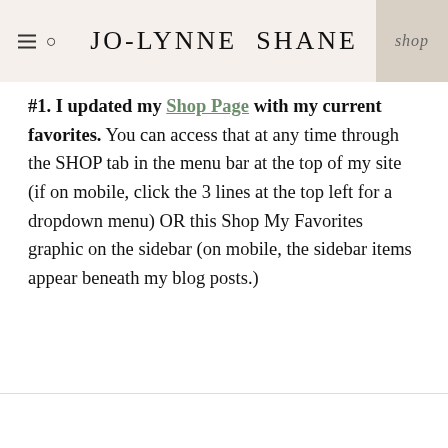JO-LYNNE SHANE  shop
#1. I updated my Shop Page with my current favorites. You can access that at any time through the SHOP tab in the menu bar at the top of my site (if on mobile, click the 3 lines at the top left for a dropdown menu) OR this Shop My Favorites graphic on the sidebar (on mobile, the sidebar items appear beneath my blog posts.)